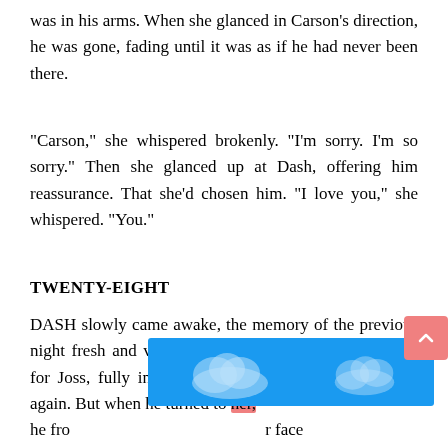was in his arms. When she glanced in Carson's direction, he was gone, fading until it was as if he had never been there.
“Carson,” she whispered brokenly. “I’m sorry. I’m so sorry.” Then she glanced up at Dash, offering him reassurance. That she’d chosen him. “I love you,” she whispered. “You.”
TWENTY-EIGHT
DASH slowly came awake, the memory of the previous night fresh and vivid in his mind. He smiled, reaching for Joss, fully intending to make love to her all over again. But when he turned to her, he fro… r face and s… moan